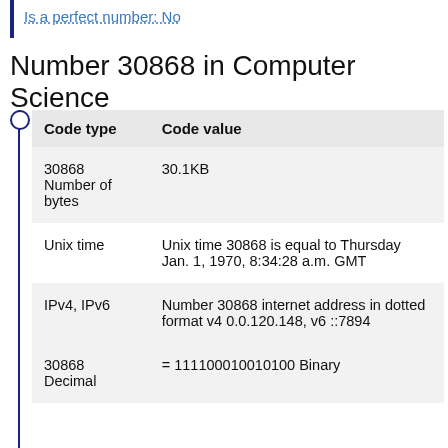Is a perfect number: No
Number 30868 in Computer Science
| Code type | Code value |
| --- | --- |
| 30868 Number of bytes | 30.1KB |
| Unix time | Unix time 30868 is equal to Thursday Jan. 1, 1970, 8:34:28 a.m. GMT |
| IPv4, IPv6 | Number 30868 internet address in dotted format v4 0.0.120.148, v6 ::7894 |
| 30868 Decimal | = 111100010010100 Binary |